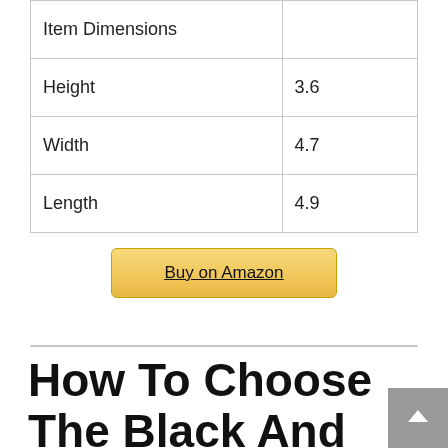|  |  |
| --- | --- |
| Item Dimensions |  |
| Height | 3.6 |
| Width | 4.7 |
| Length | 4.9 |
Buy on Amazon
How To Choose The Black And Decker Dustbuster